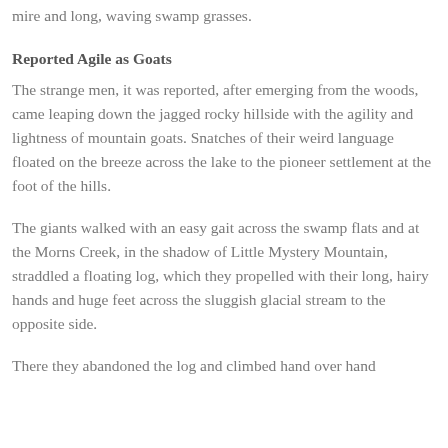mire and long, waving swamp grasses.
Reported Agile as Goats
The strange men, it was reported, after emerging from the woods, came leaping down the jagged rocky hillside with the agility and lightness of mountain goats. Snatches of their weird language floated on the breeze across the lake to the pioneer settlement at the foot of the hills.
The giants walked with an easy gait across the swamp flats and at the Morns Creek, in the shadow of Little Mystery Mountain, straddled a floating log, which they propelled with their long, hairy hands and huge feet across the sluggish glacial stream to the opposite side.
There they abandoned the log and climbed hand over hand